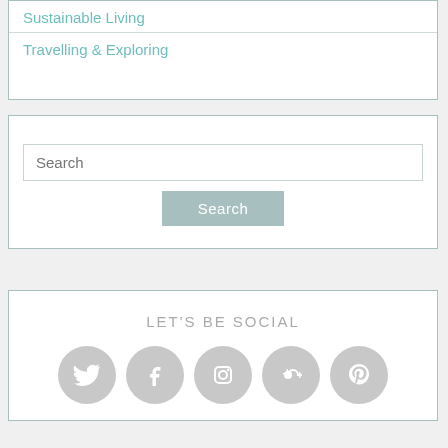Sustainable Living
Travelling & Exploring
Search
Search
LET'S BE SOCIAL
[Figure (other): Row of five circular social media icons: Twitter, Facebook, Instagram, Google+, Pinterest — all in grey]